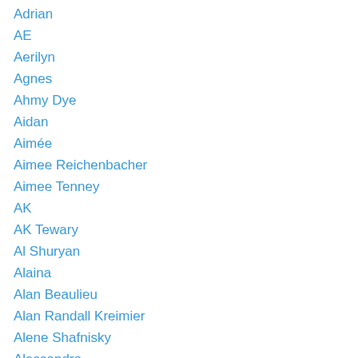Adrian
AE
Aerilyn
Agnes
Ahmy Dye
Aidan
Aimée
Aimee Reichenbacher
Aimee Tenney
AK
AK Tewary
Al Shuryan
Alaina
Alan Beaulieu
Alan Randall Kreimier
Alene Shafnisky
Alessandro
Alex Janiga
Alex Medve
Alex Rockwell